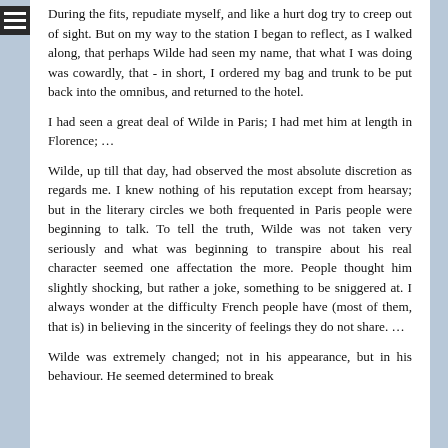During the fits, repudiate myself, and like a hurt dog try to creep out of sight. But on my way to the station I began to reflect, as I walked along, that perhaps Wilde had seen my name, that what I was doing was cowardly, that - in short, I ordered my bag and trunk to be put back into the omnibus, and returned to the hotel.
I had seen a great deal of Wilde in Paris; I had met him at length in Florence; …
Wilde, up till that day, had observed the most absolute discretion as regards me. I knew nothing of his reputation except from hearsay; but in the literary circles we both frequented in Paris people were beginning to talk. To tell the truth, Wilde was not taken very seriously and what was beginning to transpire about his real character seemed one affectation the more. People thought him slightly shocking, but rather a joke, something to be sniggered at. I always wonder at the difficulty French people have (most of them, that is) in believing in the sincerity of feelings they do not share. …
Wilde was extremely changed; not in his appearance, but in his behaviour. He seemed determined to break